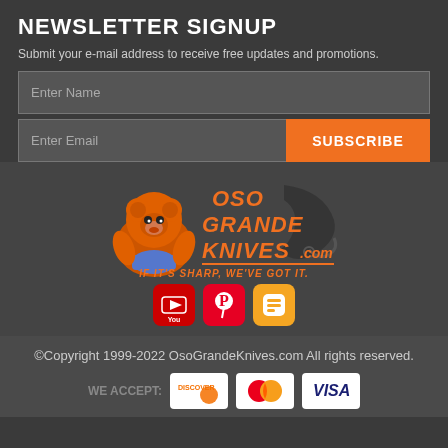NEWSLETTER SIGNUP
Submit your e-mail address to receive free updates and promotions.
[Figure (infographic): Newsletter signup form with name input field, email input field, and orange SUBSCRIBE button]
[Figure (logo): Oso Grande Knives .com logo with cartoon bear mascot, karambit knife silhouette, and tagline: IF IT'S SHARP, WE'VE GOT IT.]
[Figure (infographic): Social media icons: YouTube (red), Pinterest (red), Blogger (orange)]
©Copyright 1999-2022 OsoGrandeKnives.com All rights reserved.
[Figure (infographic): WE ACCEPT: Discover, MasterCard, Visa payment card logos]